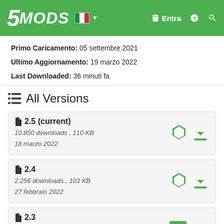5MODS — Entra navigation bar
Primo Caricamento: 05 settembre 2021
Ultimo Aggiornamento: 19 marzo 2022
Last Downloaded: 36 minuti fa
All Versions
2.5 (current)
10.850 downloads , 110 KB
18 marzo 2022
2.4
2.256 downloads , 103 KB
27 febbraio 2022
2.3
852 downloads , 103 KB
23 febbraio 2022